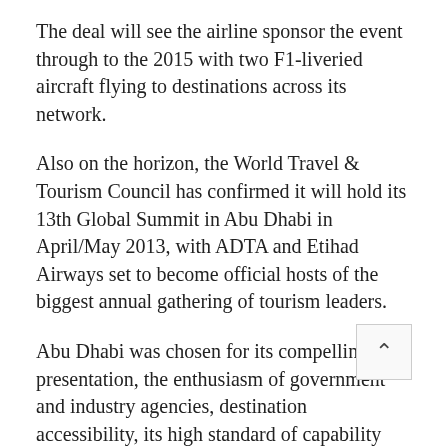The deal will see the airline sponsor the event through to the 2015 with two F1-liveried aircraft flying to destinations across its network.
Also on the horizon, the World Travel & Tourism Council has confirmed it will hold its 13th Global Summit in Abu Dhabi in April/May 2013, with ADTA and Etihad Airways set to become official hosts of the biggest annual gathering of tourism leaders.
Abu Dhabi was chosen for its compelling presentation, the enthusiasm of government and industry agencies, destination accessibility, its high standard of capability and evidence of green tourism growth as a key development strategy, the WTTC has explained.
The event is the most influential in the annual tourism calendar, bringing together almost 1,000 industry leaders